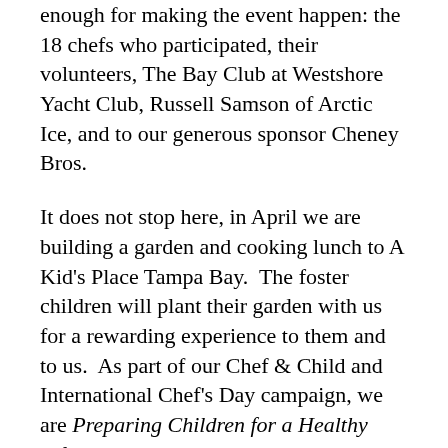enough for making the event happen: the 18 chefs who participated, their volunteers, The Bay Club at Westshore Yacht Club, Russell Samson of Arctic Ice, and to our generous sponsor Cheney Bros.
It does not stop here, in April we are building a garden and cooking lunch to A Kid's Place Tampa Bay.  The foster children will plant their garden with us for a rewarding experience to them and to us.  As part of our Chef & Child and International Chef's Day campaign, we are Preparing Children for a Healthy Life!
COVID will not stop ACF Tampa Bay.